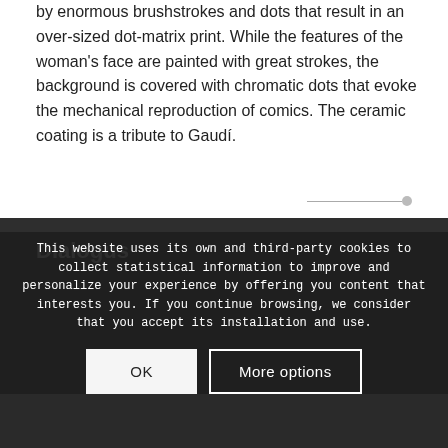by enormous brushstrokes and dots that result in an over-sized dot-matrix print. While the features of the woman's face are painted with great strokes, the background is covered with chromatic dots that evoke the mechanical reproduction of comics. The ceramic coating is a tribute to Gaudí.
[Figure (other): Horizontal divider line with a small circle at the right end]
Dialogus
[Figure (photo): Dark sculptural figure partially visible at bottom left of dark section]
This website uses its own and third-party cookies to collect statistical information to improve and personalize your experience by offering you content that interests you. If you continue browsing, we consider that you accept its installation and use.
OK
More options